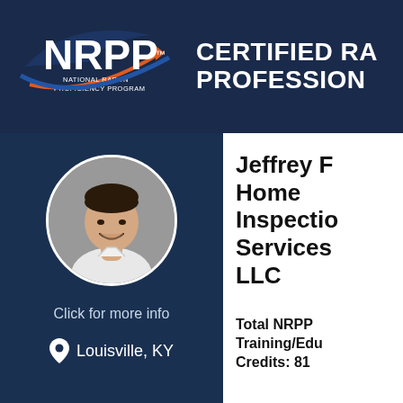[Figure (logo): NRPP - National Radon Proficiency Program logo with blue and orange swoosh arrow]
CERTIFIED RADON PROFESSIONALS
[Figure (photo): Circular profile photo of a young man smiling, wearing a white shirt]
Click for more info
Louisville, KY
Jeffrey F Home Inspection Services LLC
Total NRPP Training/Education Credits: 81